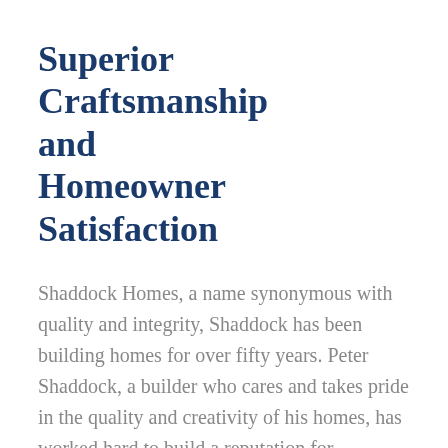Superior Craftsmanship and Homeowner Satisfaction
Shaddock Homes, a name synonymous with quality and integrity, Shaddock has been building homes for over fifty years. Peter Shaddock, a builder who cares and takes pride in the quality and creativity of his homes, has worked hard to build a reputation for distinctive designs, superior craftsmanship and homeowner satisfaction. Shaddock Homes features innovative and inspiring floor plan